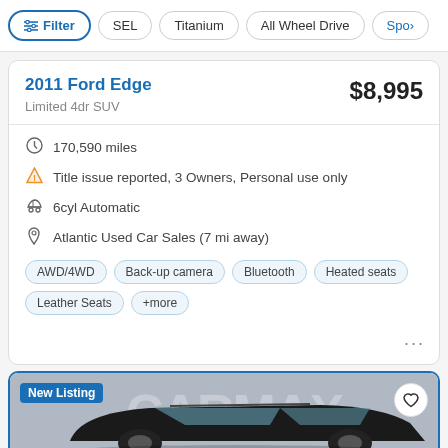Filter | SEL | Titanium | All Wheel Drive | Spo>
2011 Ford Edge
Limited 4dr SUV
$8,995
170,590 miles
Title issue reported, 3 Owners, Personal use only
6cyl Automatic
Atlantic Used Car Sales (7 mi away)
AWD/4WD
Back-up camera
Bluetooth
Heated seats
Leather Seats
+more
[Figure (photo): New Listing card with a black SUV car photo, CarMax watermark, heart/favorite icon button and blue border]